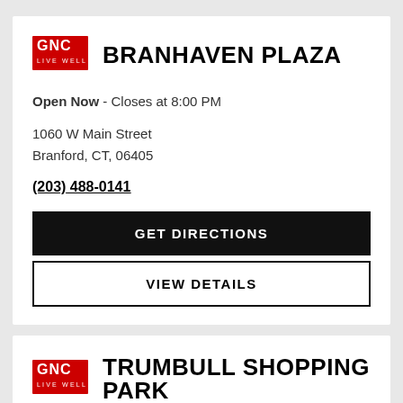[Figure (logo): GNC Live Well logo in red]
BRANHAVEN PLAZA
Open Now - Closes at 8:00 PM
1060 W Main Street
Branford, CT, 06405
(203) 488-0141
GET DIRECTIONS
VIEW DETAILS
[Figure (logo): GNC Live Well logo in red]
TRUMBULL SHOPPING PARK